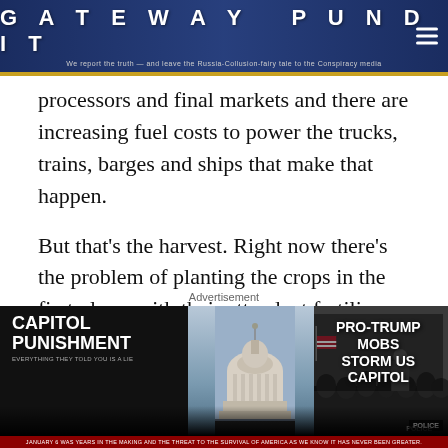GATEWAY PUNDIT — We report the truth — and leave the Russia-Collusion-fairy tale to the Conspiracy media
processors and final markets and there are increasing fuel costs to power the trucks, trains, barges and ships that make that happen.
But that's the harvest. Right now there's the problem of planting the crops in the first place, with their attendant fertilizer.
Already experiencing inflation, Neal predicts fertilizer will drive his costs up by about 25 to 30
[Figure (screenshot): Advertisement banner for 'Capitol Punishment' documentary. Left side shows title text and 'WATCH NOW' button. Center shows US Capitol dome. Right side shows news image with text 'PRO-TRUMP MOBS STORM US CAPITOL'. Bottom red bar reads 'JANUARY 6 WAS YEARS IN THE MAKING AND THE THREAT TO THE SURVIVAL OF AMERICA AS WE KNOW IT HAS NEVER BEEN GREATER.']